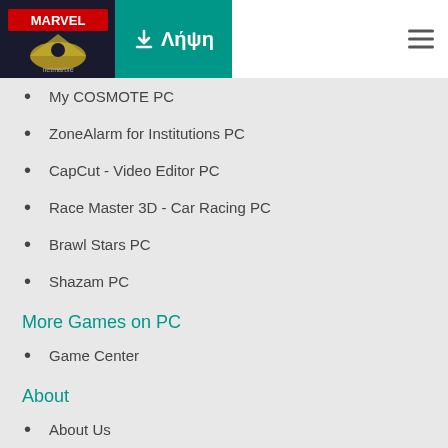Marvel Netmarble | Λήψη | Menu
My COSMOTE PC
ZoneAlarm for Institutions PC
CapCut - Video Editor PC
Race Master 3D - Car Racing PC
Brawl Stars PC
Shazam PC
More Games on PC
Game Center
About
About Us
Android Emulator
MEmu 8.0
Παίξτε Android game στο PC
Λήψη
Λήψη